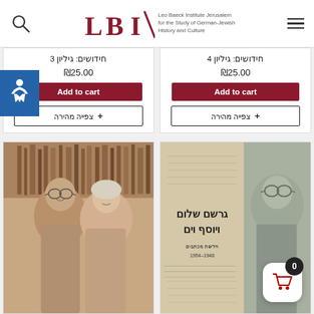[Figure (logo): Leo Baeck Institute Jerusalem logo with LBI letters and full name text]
חידושים: גיליון 3
₪25.00
Add to cart
+ צפייה מהירה
חידושים: גיליון 4
₪25.00
Add to cart
+ צפייה מהירה
[Figure (photo): Elderly man and woman seated together, bookshelves in background]
[Figure (photo): Book cover with Hebrew text: גרשם שלום ויוסף וים, חליפת מכתבים 1954-1948, with portrait of man with glasses overlaid on manuscript background]